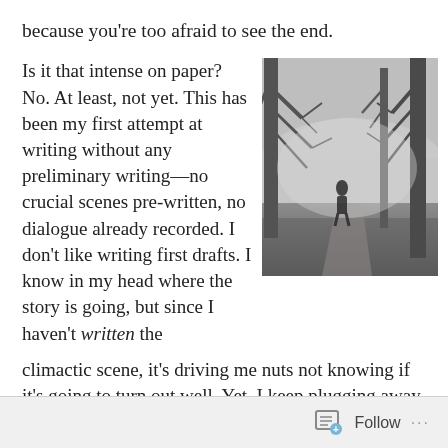because you’re too afraid to see the end.
Is it that intense on paper? No. At least, not yet. This has been my first attempt at writing without any preliminary writing—no crucial scenes pre-written, no dialogue already recorded. I don’t like writing first drafts. I know in my head where the story is going, but since I haven’t written the climactic scene, it’s driving me nuts not knowing if it’s going to turn out well. Yet, I keep plugging away.
[Figure (photo): Black and white photograph of a solitary figure walking along a misty, foggy path between bare trees, atmospheric and moody.]
Follow ...